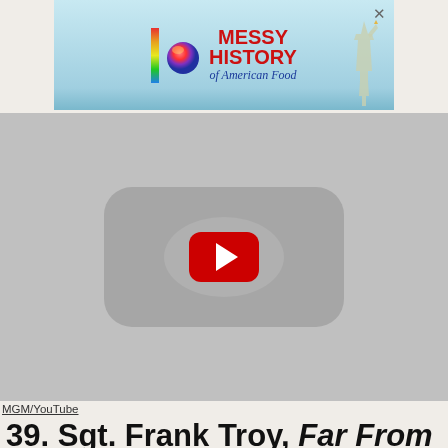[Figure (other): Advertisement banner for 'Messy History of American Food' showing colorful logo and Statue of Liberty silhouette with close button]
[Figure (other): YouTube video embed placeholder showing gray YouTube logo background with red play button in center]
MGM/YouTube
39. Sgt. Frank Troy, Far From the